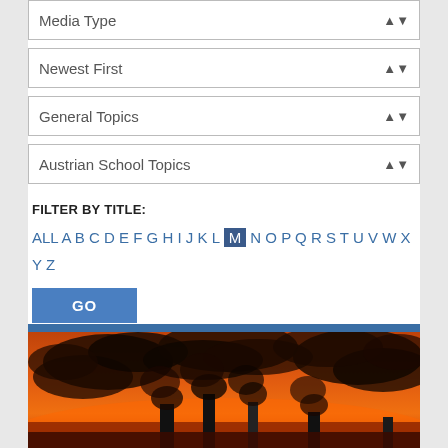Media Type
Newest First
General Topics
Austrian School Topics
FILTER BY TITLE:
ALL A B C D E F G H I J K L M N O P Q R S T U V W X Y Z
GO
Clear All
[Figure (photo): Industrial smokestacks emitting smoke against an orange and red sunset sky]